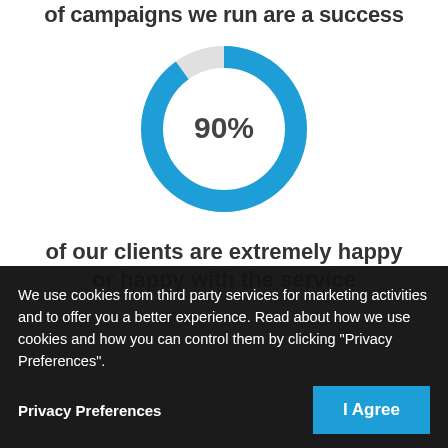of campaigns we run are a success
[Figure (donut-chart): 90%]
of our clients are extremely happy or happy with the service
We use cookies from third party services for marketing activities and to offer you a better experience. Read about how we use cookies and how you can control them by clicking "Privacy Preferences".
Privacy Preferences
I Agree